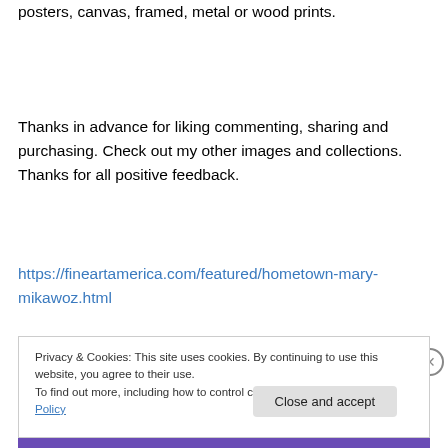posters, canvas, framed, metal or wood prints.
Thanks in advance for liking commenting, sharing and purchasing. Check out my other images and collections. Thanks for all positive feedback.
https://fineartamerica.com/featured/hometown-mary-mikawoz.html
Privacy & Cookies: This site uses cookies. By continuing to use this website, you agree to their use.
To find out more, including how to control cookies, see here: Cookie Policy